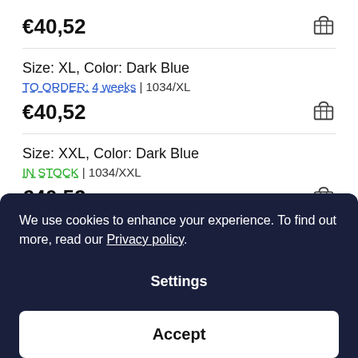€40,52
Size: XL, Color: Dark Blue
TO ORDER: 4 weeks | 1034/XL
€40,52
Size: XXL, Color: Dark Blue
IN STOCK | 1034/XXL
€40,52
We use cookies to enhance your experience. To find out more, read our Privacy policy.
Settings
Accept